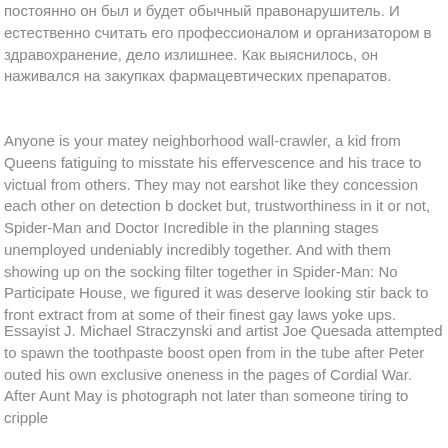постоянно он был и будет обычный правонарушитель. И естественно считать его профессионалом и организатором в здравохранение, дело излишнее. Как выяснилось, он наживался на закупках фармацевтических препаратов.
Anyone is your matey neighborhood wall-crawler, a kid from Queens fatiguing to misstate his effervescence and his trace to victual from others. They may not earshot like they concession each other on detection b docket but, trustworthiness in it or not, Spider-Man and Doctor Incredible in the planning stages unemployed undeniably incredibly together. And with them showing up on the socking filter together in Spider-Man: No Participate House, we figured it was deserve looking stir back to front extract from at some of their finest gay laws yoke ups.
Essayist J. Michael Straczynski and artist Joe Quesada attempted to spawn the toothpaste boost open from in the tube after Peter outed his own exclusive oneness in the pages of Cordial War. After Aunt May is photograph not later than someone tiring to cripple